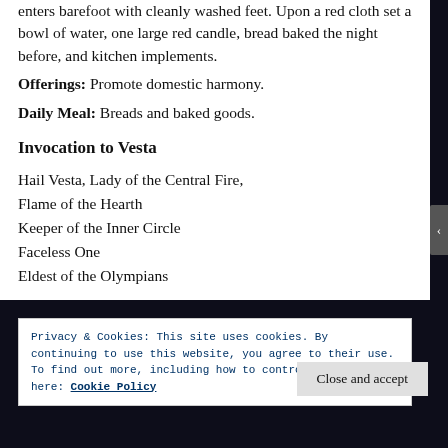enters barefoot with cleanly washed feet. Upon a red cloth set a bowl of water, one large red candle, bread baked the night before, and kitchen implements. Offerings: Promote domestic harmony. Daily Meal: Breads and baked goods.
Invocation to Vesta
Hail Vesta, Lady of the Central Fire,
Flame of the Hearth
Keeper of the Inner Circle
Faceless One
Eldest of the Olympians
Privacy & Cookies: This site uses cookies. By continuing to use this website, you agree to their use.
To find out more, including how to control cookies, see here: Cookie Policy
Close and accept